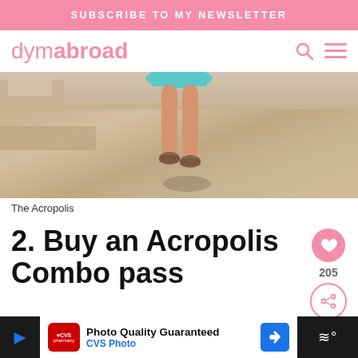SUBSCRIBE TO MY NEWSLETTER
dymabroad
[Figure (photo): Photo of a person's legs walking on ancient stone ruins at the Acropolis, wearing sandals and a teal skirt]
The Acropolis
2. Buy an Acropolis Combo pass
[Figure (other): Advertisement banner: CVS Photo - Photo Quality Guaranteed]